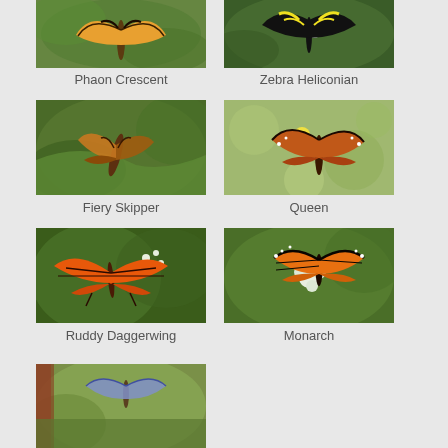[Figure (photo): Phaon Crescent butterfly on green foliage - partially cropped at top]
Phaon Crescent
[Figure (photo): Zebra Heliconian butterfly on white flowers - partially cropped at top]
Zebra Heliconian
[Figure (photo): Fiery Skipper butterfly perched on green leaf]
Fiery Skipper
[Figure (photo): Queen butterfly on yellow flower with green bokeh background]
Queen
[Figure (photo): Ruddy Daggerwing butterfly with orange wings on green foliage]
Ruddy Daggerwing
[Figure (photo): Monarch butterfly on white flowers with green background]
Monarch
[Figure (photo): Butterfly with blue/purple wings on green foliage - partially cropped at bottom]